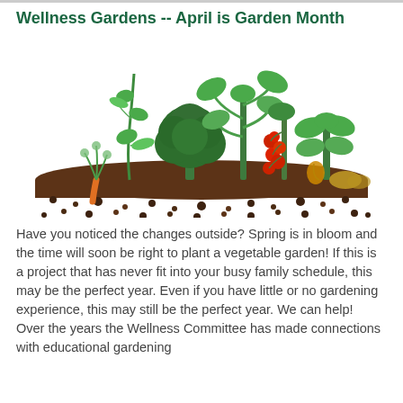Wellness Gardens -- April is Garden Month
[Figure (illustration): Colorful illustration of a vegetable garden with various plants growing from rich brown soil, including a carrot, pea vine, broccoli, tomatoes on vine, and leafy plants with green foliage, set on a dirt mound with scattered soil particles below.]
Have you noticed the changes outside? Spring is in bloom and the time will soon be right to plant a vegetable garden! If this is a project that has never fit into your busy family schedule, this may be the perfect year. Even if you have little or no gardening experience, this may still be the perfect year. We can help!
Over the years the Wellness Committee has made connections with educational gardening